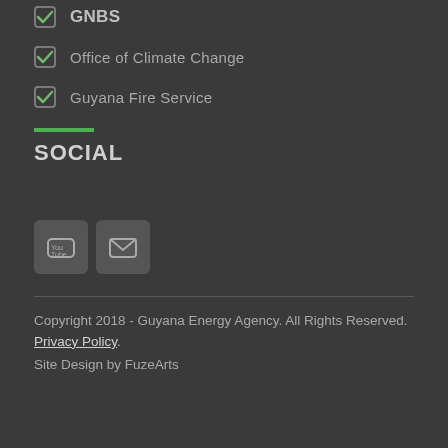GNBS
Office of Climate Change
Guyana Fire Service
SOCIAL
[Figure (illustration): YouTube icon button and email/envelope icon button in gray rounded square boxes]
Copyright 2018 - Guyana Energy Agency. All Rights Reserved. Privacy Policy.
Site Design by FuzeArts